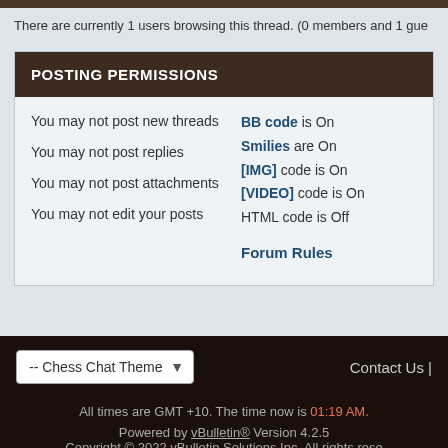There are currently 1 users browsing this thread. (0 members and 1 gue
POSTING PERMISSIONS
You may not post new threads
You may not post replies
You may not post attachments
You may not edit your posts
BB code is On
Smilies are On
[IMG] code is On
[VIDEO] code is On
HTML code is Off
Forum Rules
-- Chess Chat Theme
Contact Us |
All times are GMT +10. The time now is 01:19 AM.
Powered by vBulletin® Version 4.2.5
Copyright © 2022 vBulletin Solutions Inc. All rights rese